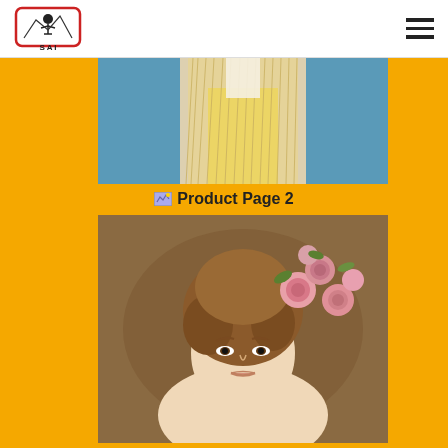SAI logo and navigation menu
[Figure (photo): Top portion of a photo showing a person with long straight blonde hair wearing a yellow dress against a blue background]
Product Page 2
[Figure (photo): Portrait of a young woman with an elegant updo hairstyle decorated with pink roses/ranunculus flowers, against a warm brown background]